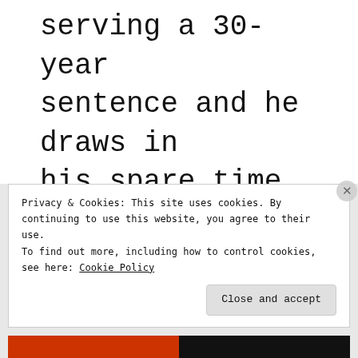serving a 30-year sentence and he draws in his spare time.
Advertisements
[Figure (other): Pressable advertisement: 'The Platform Where WordPress Works Best' with Pressable logo]
Privacy & Cookies: This site uses cookies. By continuing to use this website, you agree to their use.
To find out more, including how to control cookies, see here: Cookie Policy
Close and accept